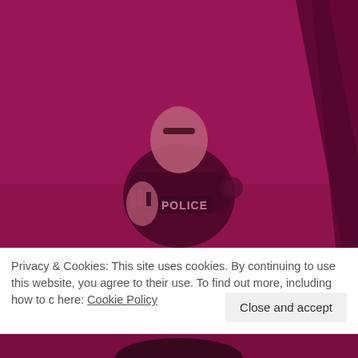[Figure (photo): A police officer in uniform with 'POLICE' text visible on their chest, photographed with a strong magenta/pink color overlay. The officer appears to be in a room with a dark diagonal element in the upper right. The image is tinted in deep pink/magenta hues.]
Privacy & Cookies: This site uses cookies. By continuing to use this website, you agree to their use. To find out more, including how to c here: Cookie Policy
[Figure (photo): Bottom sliver of the same or a second photo with magenta tint, showing partial lower portion of a figure.]